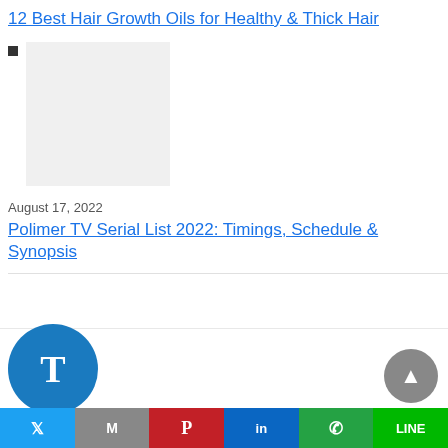12 Best Hair Growth Oils for Healthy & Thick Hair
[Figure (photo): Placeholder image thumbnail (light gray rectangle)]
August 17, 2022
Polimer TV Serial List 2022: Timings, Schedule & Synopsis
[Figure (logo): Blue circular logo with letter T]
[Figure (other): Gray circular scroll-to-top button with upward arrow]
Social share bar: Twitter, Gmail, Pinterest, LinkedIn, WhatsApp, Line